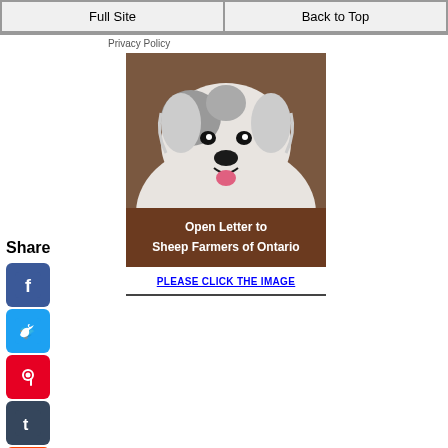Full Site | Back to Top
Privacy Policy
Share
[Figure (screenshot): Social media share buttons: Facebook (blue), Twitter (blue), Pinterest (red), Tumblr (dark blue), Reddit (orange), WhatsApp (green)]
[Figure (photo): Photo of a Great Pyrenees dog with white fluffy fur, smiling, against a brown wooden background. Brown banner reads: Open Letter to Sheep Farmers of Ontario]
PLEASE CLICK THE IMAGE